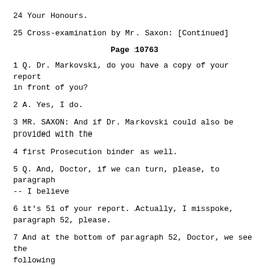24 Your Honours.
25 Cross-examination by Mr. Saxon: [Continued]
Page 10763
1 Q. Dr. Markovski, do you have a copy of your report in front of you?
2 A. Yes, I do.
3 MR. SAXON: And if Dr. Markovski could also be provided with the
4 first Prosecution binder as well.
5 Q. And, Doctor, if we can turn, please, to paragraph -- I believe
6 it's 51 of your report. Actually, I misspoke, paragraph 52, please.
7 And at the bottom of paragraph 52, Doctor, we see the following
8 sentence: That is why it was no coincidence that the crisis in Macedonia
9 began in Tanusevci that it was immediately subsequent to the signing of